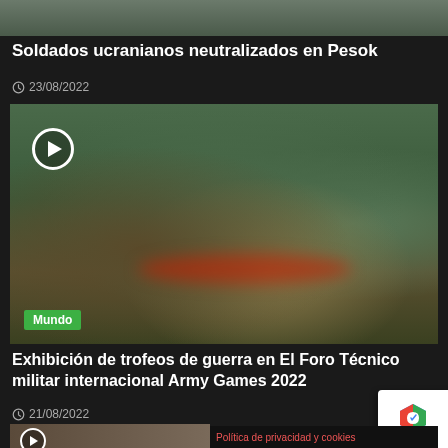[Figure (photo): Partial top image, appears to be an outdoor scene, partially cropped]
Soldados ucranianos neutralizados en Pesok
23/08/2022
[Figure (photo): Military weapons exhibition showing rocket launchers and artillery pieces displayed indoors with military personnel and visitors. A 'Mundo' category tag and play button overlay are visible.]
Exhibición de trofeos de guerra en El Foro Técnico militar internacional Army Games 2022
21/08/2022
[Figure (photo): Partial bottom image showing another video thumbnail with play button]
Política de privacidad y cookies